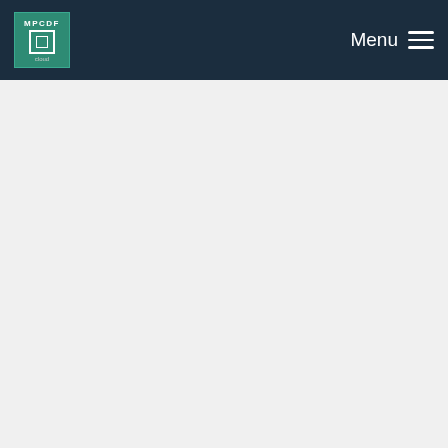MPCDF  Menu
[Figure (screenshot): Code diff view showing JavaScript/CSS-in-JS code with line numbers 45-55, added lines (green highlighted) showing makeStyles theme configuration including root padding, container maxWidth 1024, margin auto, width 100%, and export default function.]